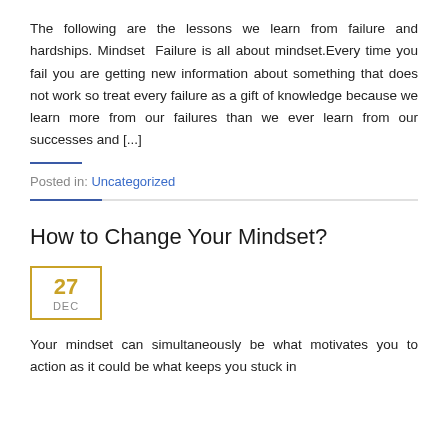The following are the lessons we learn from failure and hardships. Mindset  Failure is all about mindset.Every time you fail you are getting new information about something that does not work so treat every failure as a gift of knowledge because we learn more from our failures than we ever learn from our successes and [...]
Posted in: Uncategorized
How to Change Your Mindset?
27 DEC
Your mindset can simultaneously be what motivates you to action as it could be what keeps you stuck in